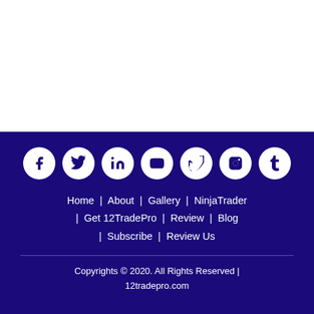[Figure (other): Social media icons row: Facebook, Twitter, LinkedIn, YouTube, Vimeo, Instagram, Tumblr — white circles on dark navy background]
Home  |  About  |  Gallery  |  NinjaTrader  |  Get 12TradePro  |  Review  |  Blog  |  Subscribe  |  Review Us
Copyrights © 2020. All Rights Reserved | 12tradepro.com